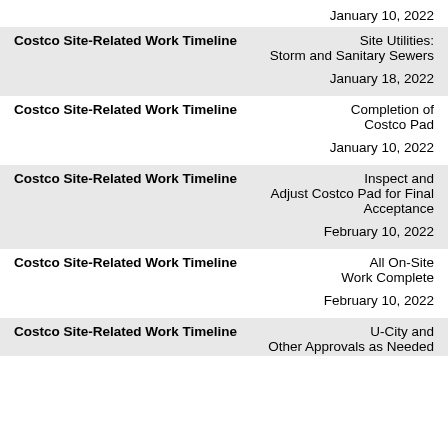January 10, 2022
Costco Site-Related Work Timeline    Site Utilities: Storm and Sanitary Sewers    January 18, 2022
Costco Site-Related Work Timeline    Completion of Costco Pad    January 10, 2022
Costco Site-Related Work Timeline    Inspect and Adjust Costco Pad for Final Acceptance    February 10, 2022
Costco Site-Related Work Timeline    All On-Site Work Complete    February 10, 2022
Costco Site-Related Work Timeline    U-City and Other Approvals as Needed